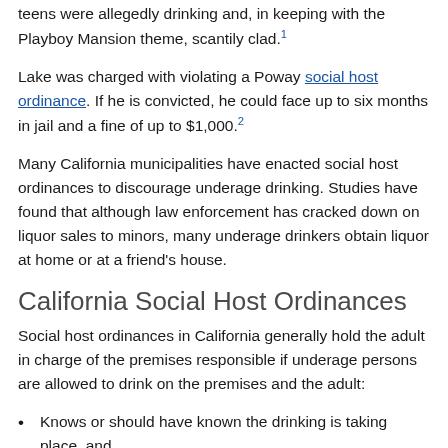teens were allegedly drinking and, in keeping with the Playboy Mansion theme, scantily clad.¹
Lake was charged with violating a Poway social host ordinance. If he is convicted, he could face up to six months in jail and a fine of up to $1,000.²
Many California municipalities have enacted social host ordinances to discourage underage drinking. Studies have found that although law enforcement has cracked down on liquor sales to minors, many underage drinkers obtain liquor at home or at a friend's house.
California Social Host Ordinances
Social host ordinances in California generally hold the adult in charge of the premises responsible if underage persons are allowed to drink on the premises and the adult:
Knows or should have known the drinking is taking place, and